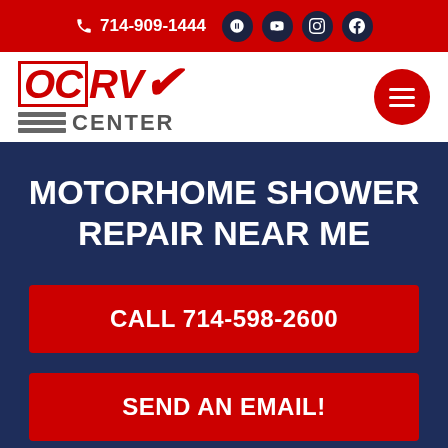714-909-1444
[Figure (logo): OCRV Center logo with red stylized letters and gray striped lines above CENTER text]
MOTORHOME SHOWER REPAIR NEAR ME
CALL 714-598-2600
SEND AN EMAIL!